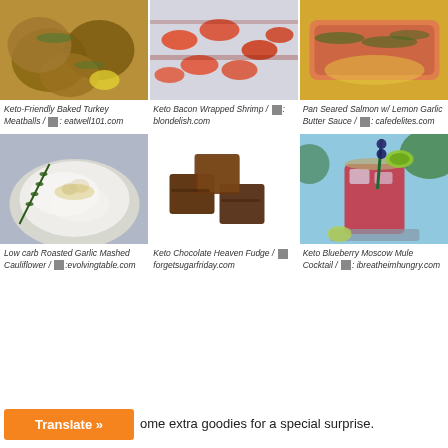[Figure (photo): Three food photos in a row: Keto-Friendly Baked Turkey Meatballs, Keto Bacon Wrapped Shrimp, Pan Seared Salmon w/ Lemon Garlic Butter Sauce]
Keto-Friendly Baked Turkey Meatballs / 🌐: eatwell101.com
Keto Bacon Wrapped Shrimp / 🌐: blondelish.com
Pan Seared Salmon w/ Lemon Garlic Butter Sauce / 🌐: cafedelites.com
[Figure (photo): Three food photos in a row: Low carb Roasted Garlic Mashed Cauliflower, Keto Chocolate Heaven Fudge, Keto Blueberry Moscow Mule Cocktail]
Low carb Roasted Garlic Mashed Cauliflower / 🌐: evolvingtable.com
Keto Chocolate Heaven Fudge / 🌐: forgetsugarfriday.com
Keto Blueberry Moscow Mule Cocktail / 🌐: ibreatheimhungry.com
…ome extra goodies for a special surprise.